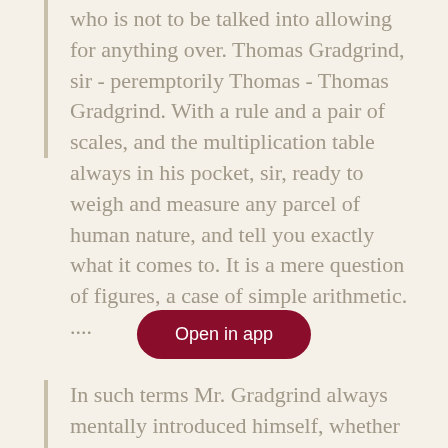who is not to be talked into allowing for anything over. Thomas Gradgrind, sir - peremptorily Thomas - Thomas Gradgrind. With a rule and a pair of scales, and the multiplication table always in his pocket, sir, ready to weigh and measure any parcel of human nature, and tell you exactly what it comes to. It is a mere question of figures, a case of simple arithmetic. ....
In such terms Mr. Gradgrind always mentally introduced himself, whether to his private circle of acquaintance, or to